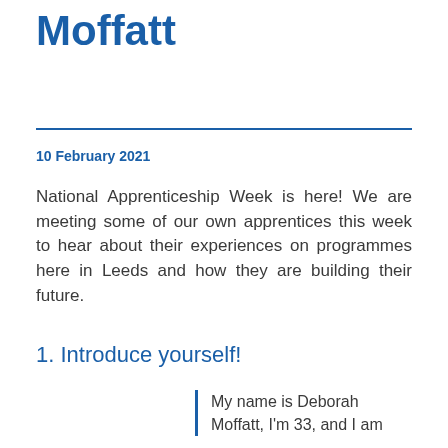Moffatt
10 February 2021
National Apprenticeship Week is here! We are meeting some of our own apprentices this week to hear about their experiences on programmes here in Leeds and how they are building their future.
1. Introduce yourself!
My name is Deborah Moffatt, I'm 33, and I am